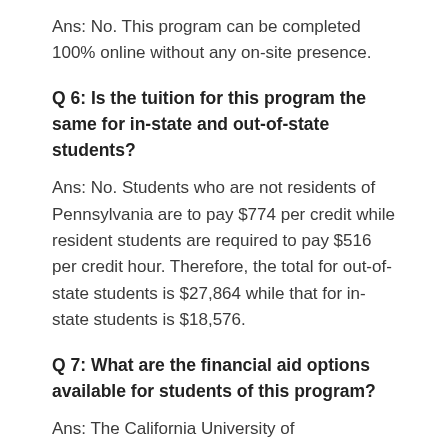Ans: No. This program can be completed 100% online without any on-site presence.
Q 6: Is the tuition for this program the same for in-state and out-of-state students?
Ans: No. Students who are not residents of Pennsylvania are to pay $774 per credit while resident students are required to pay $516 per credit hour. Therefore, the total for out-of-state students is $27,864 while that for in-state students is $18,576.
Q 7: What are the financial aid options available for students of this program?
Ans: The California University of Pennsylvania offers its students a range of financial aid